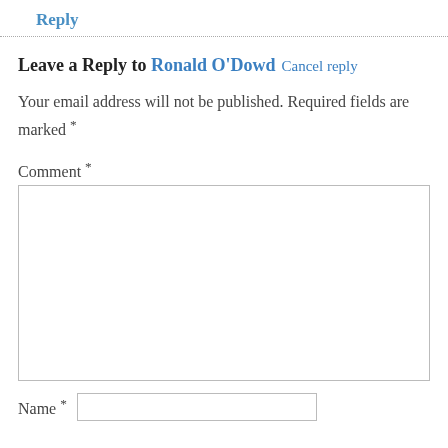Reply
Leave a Reply to Ronald O'Dowd Cancel reply
Your email address will not be published. Required fields are marked *
Comment *
Name *